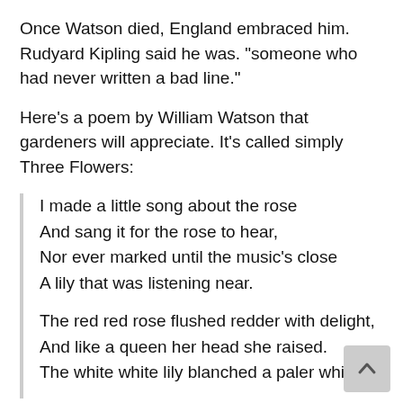Once Watson died, England embraced him. Rudyard Kipling said he was. "someone who had never written a bad line."
Here's a poem by William Watson that gardeners will appreciate. It's called simply Three Flowers:
I made a little song about the rose
And sang it for the rose to hear,
Nor ever marked until the music's close
A lily that was listening near.
The red red rose flushed redder with delight,
And like a queen her head she raised.
The white white lily blanched a paler white,